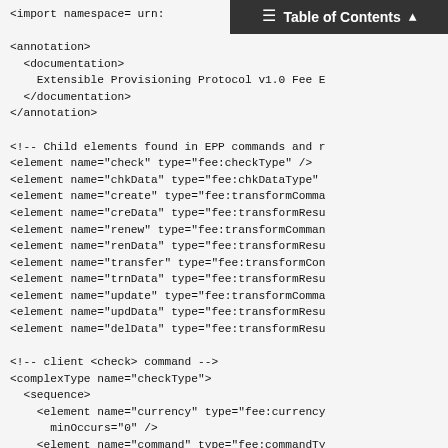Table of Contents
<import namespace="urn:

<annotation>
  <documentation>
    Extensible Provisioning Protocol v1.0 Fee E
  </documentation>
</annotation>

<!-- Child elements found in EPP commands and r
<element name="check" type="fee:checkType" />
<element name="chkData" type="fee:chkDataType"
<element name="create" type="fee:transformComma
<element name="creData" type="fee:transformResu
<element name="renew" type="fee:transformComman
<element name="renData" type="fee:transformResu
<element name="transfer" type="fee:transformCon
<element name="trnData" type="fee:transformResu
<element name="update" type="fee:transformComma
<element name="updData" type="fee:transformResu
<element name="delData" type="fee:transformResu

<!-- client <check> command -->
<complexType name="checkType">
  <sequence>
    <element name="currency" type="fee:currency
      minOccurs="0" />
    <element name="command" type="fee:commandTy
      minOccurs="1" maxOccurs="unbounded" />
  </sequence>
</complexType>